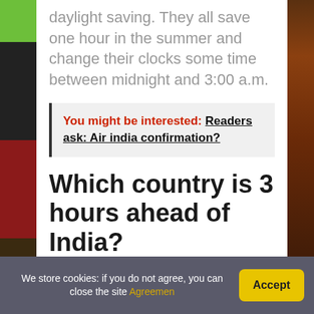daylight saving. They all save one hour in the summer and change their clocks some time between midnight and 3:00 a.m.
You might be interested: Readers ask: Air india confirmation?
Which country is 3 hours ahead of India?
We store cookies: if you do not agree, you can close the site Agreemen